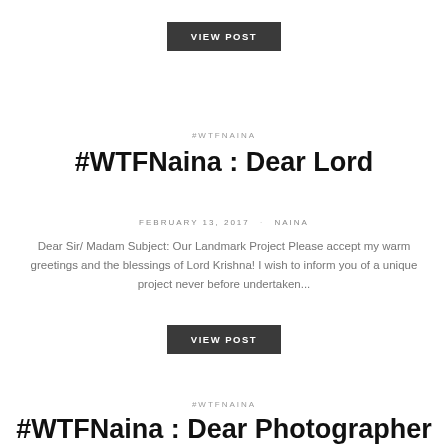VIEW POST
#WTFNAINA
#WTFNaina : Dear Lord
FEBRUARY 13, 2017 · NAINA
Dear Sir/ Madam Subject: Our Landmark Project Please accept my warm greetings and the blessings of Lord Krishna! I wish to inform you of a unique project never before undertaken...
VIEW POST
#WTFNAINA
#WTFNaina : Dear Photographer